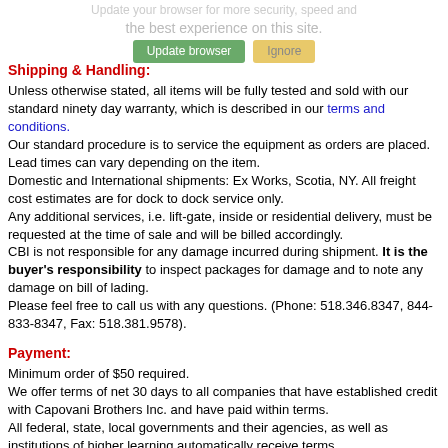Update your browser for more security, speed and the best experience on this site.
Shipping & Handling:
Unless otherwise stated, all items will be fully tested and sold with our standard ninety day warranty, which is described in our terms and conditions. Our standard procedure is to service the equipment as orders are placed. Lead times can vary depending on the item. Domestic and International shipments: Ex Works, Scotia, NY. All freight cost estimates are for dock to dock service only. Any additional services, i.e. lift-gate, inside or residential delivery, must be requested at the time of sale and will be billed accordingly. CBI is not responsible for any damage incurred during shipment. It is the buyer's responsibility to inspect packages for damage and to note any damage on bill of lading. Please feel free to call us with any questions. (Phone: 518.346.8347, 844-833-8347, Fax: 518.381.9578).
Payment:
Minimum order of $50 required. We offer terms of net 30 days to all companies that have established credit with Capovani Brothers Inc. and have paid within terms. All federal, state, local governments and their agencies, as well as institutions of higher learning automatically receive terms. All other sales, including foreign sales, are prepayment only. MasterCard, VISA, Discover and AMEX are accepted at sellers discretion.
Domestic Terms and Conditions
International Terms and Conditions